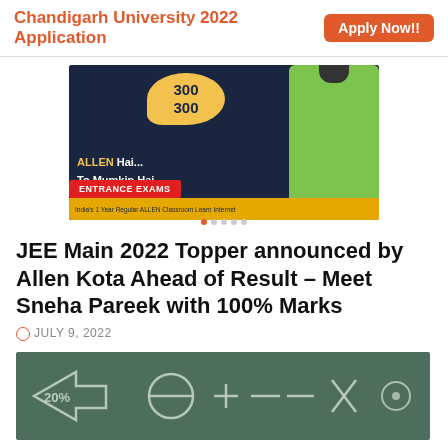Chandigarh University 2022 Application  Apply Now!!
[Figure (photo): Allen Kota advertisement showing a student in green shirt doing peace sign, with speech bubble showing '300 300', and text 'ALLEN Hai... To Mumkin Hai' on dark blue background, with ENTRANCE EXAMS tag overlay]
JEE Main 2022 Topper announced by Allen Kota Ahead of Result – Meet Sneha Pareek with 100% Marks
JULY 9, 2022
[Figure (photo): Chalkboard with mathematical symbols: 20%, theta with circle, plus, minus, X, percent signs drawn in chalk]